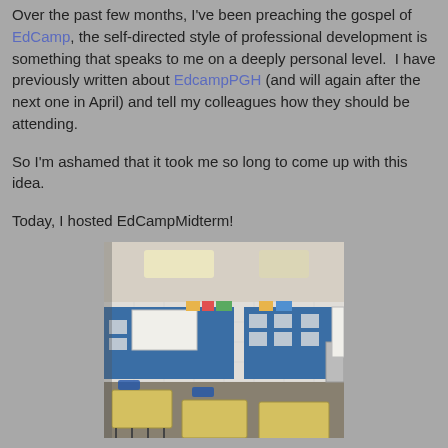Over the past few months, I've been preaching the gospel of EdCamp, the self-directed style of professional development is something that speaks to me on a deeply personal level. I have previously written about EdcampPGH (and will again after the next one in April) and tell my colleagues how they should be attending.
So I'm ashamed that it took me so long to come up with this idea.
Today, I hosted EdCampMidterm!
[Figure (photo): A classroom with blue bulletin boards, a whiteboard, yellow student desks, and chairs. The room has a drop ceiling with fluorescent lighting and tiled walls.]